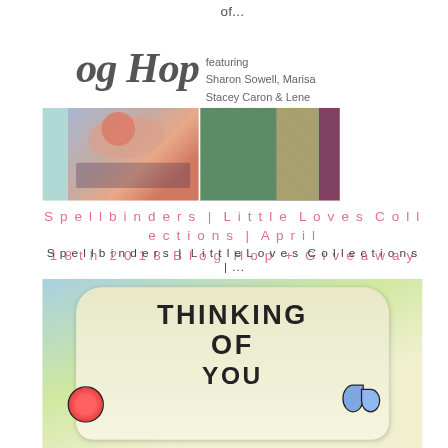of...
[Figure (illustration): Blog Hop card image with cursive 'og Hop' text and 'featuring Sharon Sowell, Marisa, Stacey Caron & Lene' alongside craft card photos showing floral and embossed designs]
Spellbinders | Little Loves Collections | April 18th 2018 Blog Hop + Giveaway
Spellbinders | LittleLoves Collections |...
[Figure (photo): Close-up photo of a handmade card reading 'THINKING OF YOU' with butterfly and flower sticker embellishments on light blue and yellow background]